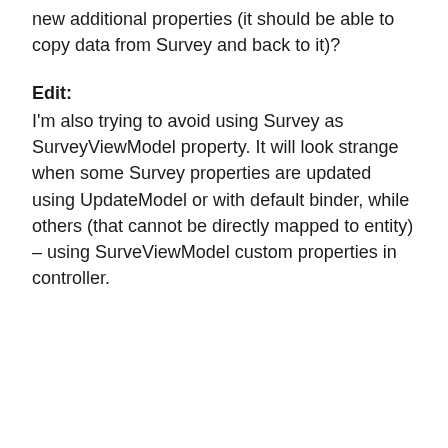new additional properties (it should be able to copy data from Survey and back to it)?
Edit:
I'm also trying to avoid using Survey as SurveyViewModel property. It will look strange when some Survey properties are updated using UpdateModel or with default binder, while others (that cannot be directly mapped to entity) – using SurveViewModel custom properties in controller.